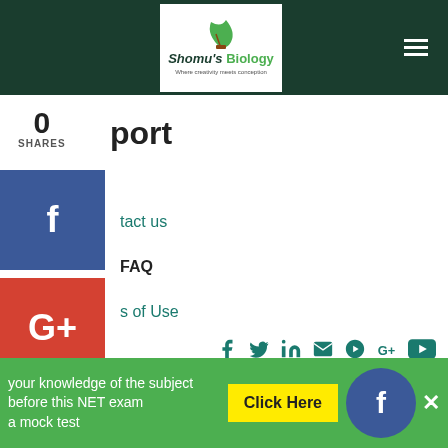Shomu's Biology - Where creativity meets conception
0 SHARES
port
tact us
FAQ
s of Use
[Figure (screenshot): Social share buttons: Facebook (blue), Google+ (red), Twitter (blue), Pinterest (red), LinkedIn (blue), More (...) gray buttons stacked vertically on left side]
[Figure (screenshot): Footer social media icons row: Facebook, Twitter, LinkedIn, Email, Pinterest, Google+, YouTube icons in teal color]
your knowledge of the subject before this NET exam a mock test
Click Here